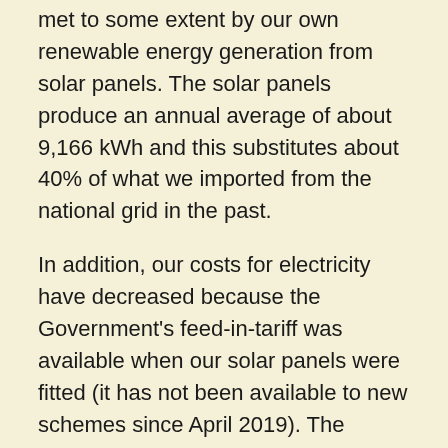met to some extent by our own renewable energy generation from solar panels. The solar panels produce an annual average of about 9,166 kWh and this substitutes about 40% of what we imported from the national grid in the past.
In addition, our costs for electricity have decreased because the Government's feed-in-tariff was available when our solar panels were fitted (it has not been available to new schemes since April 2019). The average annual electricity bill we pay for the import from the national grid is £1,964, but the income from the solar panel feed-in-tariff is £1,650, so the net expenditure for electricity is £314.
In a further change to improve our carbon footprint, in 2018 we changed our energy supplier to a 100% renewable energy supplier, Good Energy. Good Energy